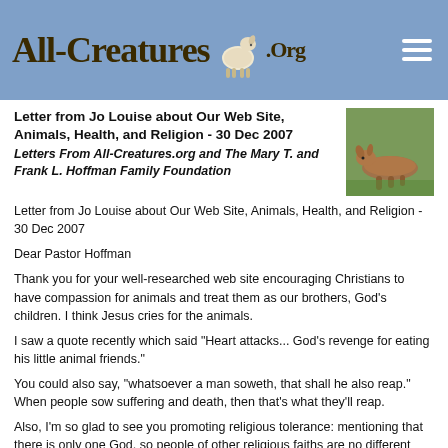All-Creatures.Org
Letter from Jo Louise about Our Web Site, Animals, Health, and Religion - 30 Dec 2007
Letters From All-Creatures.org and The Mary T. and Frank L. Hoffman Family Foundation
[Figure (photo): Photo of a deer lying in grass]
Letter from Jo Louise about Our Web Site, Animals, Health, and Religion - 30 Dec 2007
Dear Pastor Hoffman
Thank you for your well-researched web site encouraging Christians to have compassion for animals and treat them as our brothers, God's children. I think Jesus cries for the animals.
I saw a quote recently which said "Heart attacks... God's revenge for eating his little animal friends."
You could also say, "whatsoever a man soweth, that shall he also reap." When people sow suffering and death, then that's what they'll reap.
Also, I'm so glad to see you promoting religious tolerance: mentioning that there is only one God, so people of other religious faiths are no different from Christians.
And as you point out, Buddhism, Jainism and Hinduism also make it clear that God wants us to love and care for His animal friends. Just like Christianity, these Indian religions say that we reap what we sow - the Sanskrit word for this is...